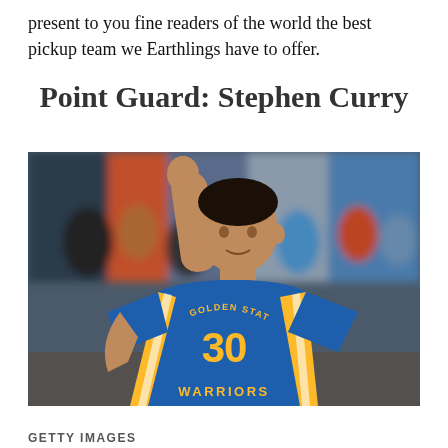present to you fine readers of the world the best pickup team we Earthlings have to offer.
Point Guard: Stephen Curry
[Figure (photo): Stephen Curry in Golden State Warriors #30 jersey, raising one finger in the air, with blurred crowd in background]
GETTY IMAGES